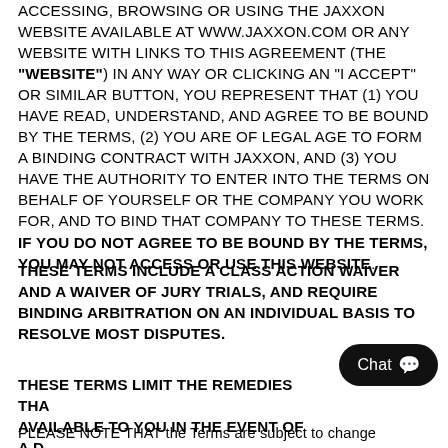ACCESSING, BROWSING OR USING THE JAXXON WEBSITE AVAILABLE AT WWW.JAXXON.COM OR ANY WEBSITE WITH LINKS TO THIS AGREEMENT (THE "WEBSITE") IN ANY WAY OR CLICKING AN "I ACCEPT" OR SIMILAR BUTTON, YOU REPRESENT THAT (1) YOU HAVE READ, UNDERSTAND, AND AGREE TO BE BOUND BY THE TERMS, (2) YOU ARE OF LEGAL AGE TO FORM A BINDING CONTRACT WITH JAXXON, AND (3) YOU HAVE THE AUTHORITY TO ENTER INTO THE TERMS ON BEHALF OF YOURSELF OR THE COMPANY YOU WORK FOR, AND TO BIND THAT COMPANY TO THESE TERMS. IF YOU DO NOT AGREE TO BE BOUND BY THE TERMS, YOU MAY NOT ACCESS OR USE THIS WEBSITE.
THESE TERMS INCLUDE A CLASS ACTION WAIVER AND A WAIVER OF JURY TRIALS, AND REQUIRE BINDING ARBITRATION ON AN INDIVIDUAL BASIS TO RESOLVE MOST DISPUTES.
THESE TERMS LIMIT THE REMEDIES THAT ARE AVAILABLE TO YOU IN THE EVENT OF A DISPUTE.
PLEASE NOTE THAT the Terms are subject to change